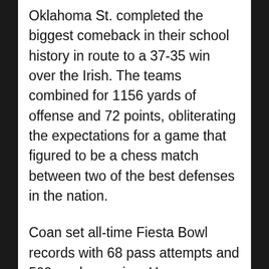Oklahoma St. completed the biggest comeback in their school history in route to a 37-35 win over the Irish. The teams combined for 1156 yards of offense and 72 points, obliterating the expectations for a game that figured to be a chess match between two of the best defenses in the nation.
Coan set all-time Fiesta Bowl records with 68 pass attempts and 509 yards passing. He approached the all-time Notre Dame record for yards passing for a game of 526, a record set in 1970 by Joe Theisman. Conspicuous however by it's absence was the Irish run game, obviously missing NFL bound Kyren Williams, and consistently stuffed by the OSU defense. The Irish running attack, totaled just